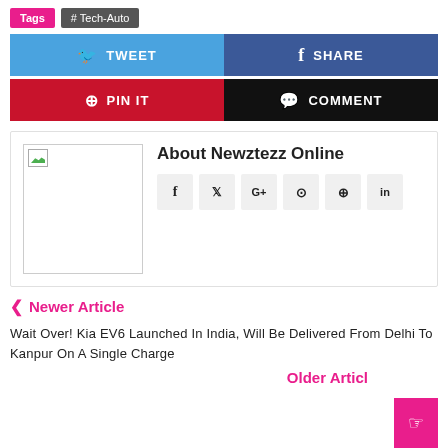Tags  #Tech-Auto
[Figure (infographic): Social share buttons: Tweet (blue), Share (dark blue), Pin It (red), Comment (black)]
About Newztezz Online
[Figure (infographic): Author image placeholder with social icons: f, twitter, G+, instagram, pinterest, in]
Newer Article
Wait Over! Kia EV6 Launched In India, Will Be Delivered From Delhi To Kanpur On A Single Charge
Older Articl